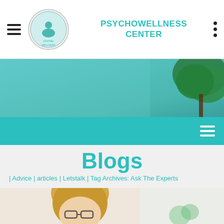PSYCHOWELLNESS CENTER
[Figure (screenshot): Teal/blue-green gradient hero banner with a tree illustration on the right side]
Blogs
| Advice | articles | Letstalk | Tag Archives: Ask The Experts
6 Ways to Know Your Child Suffer from Mental Disorders
[Figure (photo): Partial photo of a woman with glasses, blonde hair, looking down, with a blurred background including a plant]